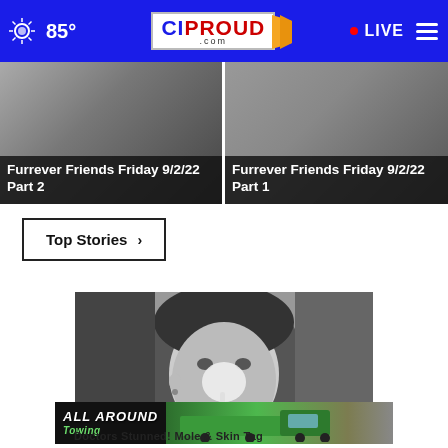85° | CIPROUD.com | LIVE
[Figure (photo): Furrever Friends Friday 9/2/22 Part 2 thumbnail]
Furrever Friends Friday 9/2/22 Part 2
[Figure (photo): Furrever Friends Friday 9/2/22 Part 1 thumbnail]
Furrever Friends Friday 9/2/22 Part 1
Top Stories ›
[Figure (photo): Black and white photo of a person applying something to their nose/face]
[Figure (photo): All Around Towing advertisement banner with green tow truck]
Doctors Stunned! Mole & Skin Tag